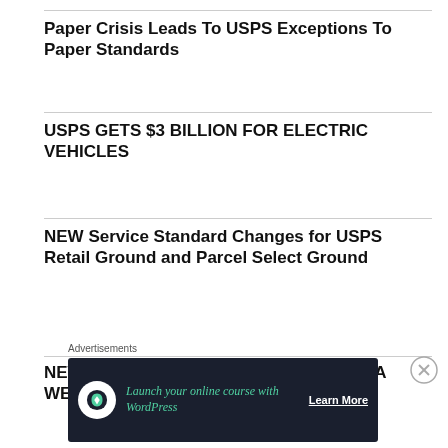Paper Crisis Leads To USPS Exceptions To Paper Standards
USPS GETS $3 BILLION FOR ELECTRIC VEHICLES
NEW Service Standard Changes for USPS Retail Ground and Parcel Select Ground
NEWSPAPERS DYING AT RATE OF TWO A WEEK
Advertisements
[Figure (other): Advertisement banner: Launch your online course with WordPress – Learn More]